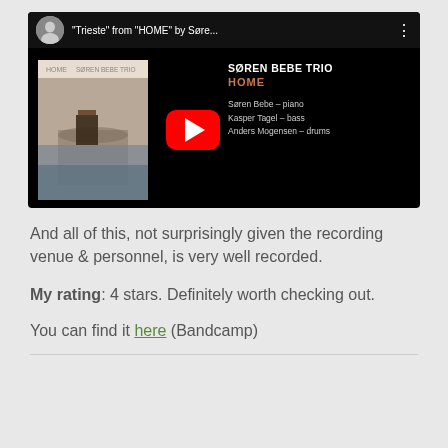[Figure (screenshot): YouTube video thumbnail for 'Trieste' from 'HOME' by Søren Bebe Trio. Shows album cover, play button, band name, album title, and personnel list.]
And all of this, not surprisingly given the recording venue & personnel, is very well recorded.
My rating: 4 stars. Definitely worth checking out.
You can find it here (Bandcamp)